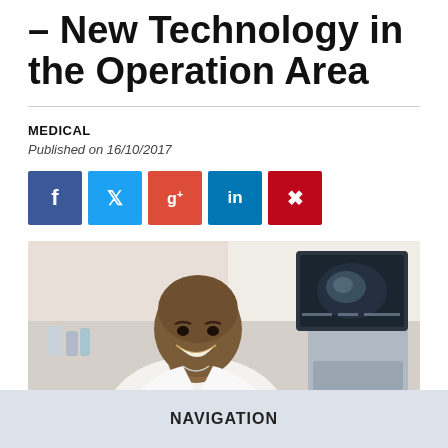– New Technology in the Operation Area
MEDICAL
Published on 16/10/2017
[Figure (other): Social media sharing buttons: Facebook (f), Twitter (bird), Google+ (g+), LinkedIn (in), Pinterest (p)]
[Figure (photo): A smiling doctor wearing a white coat standing next to an ultrasound machine with a monitor displaying an ultrasound image, in a medical/clinical setting.]
NAVIGATION